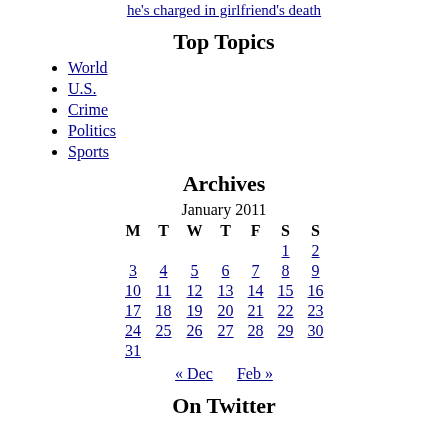he's charged in girlfriend's death
Top Topics
World
U.S.
Crime
Politics
Sports
Archives
| M | T | W | T | F | S | S |
| --- | --- | --- | --- | --- | --- | --- |
|  |  |  |  |  | 1 | 2 |
| 3 | 4 | 5 | 6 | 7 | 8 | 9 |
| 10 | 11 | 12 | 13 | 14 | 15 | 16 |
| 17 | 18 | 19 | 20 | 21 | 22 | 23 |
| 24 | 25 | 26 | 27 | 28 | 29 | 30 |
| 31 |  |  |  |  |  |  |
« Dec    Feb »
On Twitter